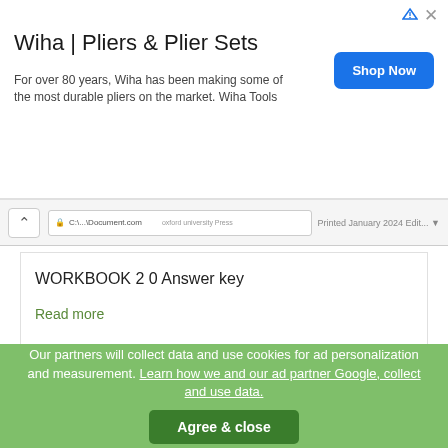[Figure (screenshot): Ad banner for Wiha Pliers & Plier Sets with Shop Now button]
Wiha | Pliers & Plier Sets
For over 80 years, Wiha has been making some of the most durable pliers on the market. Wiha Tools
[Figure (screenshot): Browser navigation bar with back arrow and URL bar]
WORKBOOK 2 0 Answer key
Read more
[Figure (screenshot): Thumbnail of document page showing Answer Key for the Workbook with unit content]
Our partners will collect data and use cookies for ad personalization and measurement. Learn how we and our ad partner Google, collect and use data. Agree & close